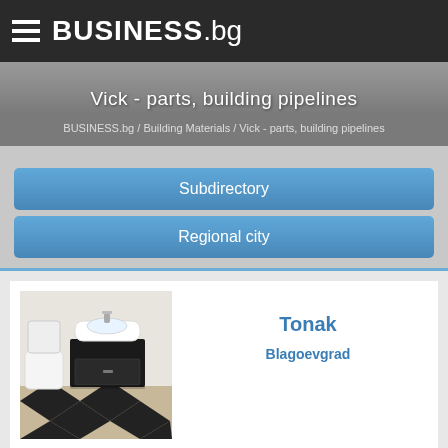BUSINESS.bg
Vick - parts, building pipelines
BUSINESS.bg / Building Materials / Vick - parts, building pipelines
Subdirectory
Regional city
[Figure (photo): Bathroom showroom with toilet, sink/vanity unit on black and white checkered floor]
Tonak
Blagoevgrad
English translation is in progress or not avaiable.